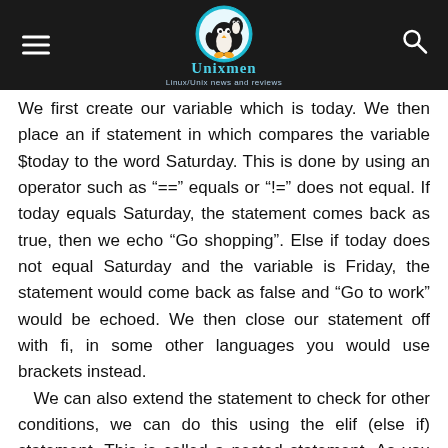Unixmen — Linux/Unix news and reviews
We first create our variable which is today. We then place an if statement in which compares the variable $today to the word Saturday. This is done by using an operator such as "=="  equals or "!="  does not equal. If today equals Saturday, the statement comes back as true, then we echo "Go shopping". Else if today does not equal Saturday and the variable is Friday, the statement would come back as false and "Go to work" would be echoed. We then close our statement off with fi, in some other languages you would use brackets instead.
   We can also extend the statement to check for other conditions, we can do this using the elif (else if) statement. This is called a nested statement. As you can see below if we change the day to Sunday and add an elif statement which also checks to see if today is Sunday, then we can echo "Go